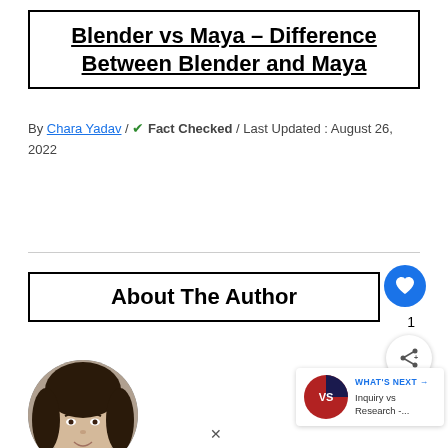Blender vs Maya – Difference Between Blender and Maya
By Chara Yadav / ✔ Fact Checked / Last Updated : August 26, 2022
About The Author
[Figure (photo): Circular portrait photo of author Chara Yadav, a woman with dark hair]
[Figure (illustration): What's Next widget showing VS badge with Inquiry vs Research link]